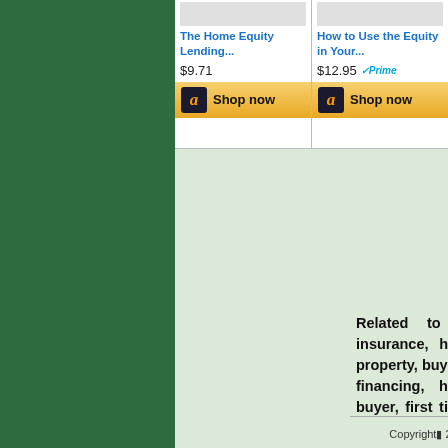[Figure (screenshot): Amazon product listing for 'The Home Equity Lending...' priced at $9.71 with Shop now button]
[Figure (screenshot): Amazon product listing for 'How to Use the Equity in Your...' priced at $12.95 with Prime badge and Shop now button]
Related to : home, mortgage, insurance, homebuyer, real estate, property, buy home, home insurance, financing, home financing, home buyer, first time homebuyer, homes, homebuying, credit, condo.
Copyright© 2022 www.home-words.com